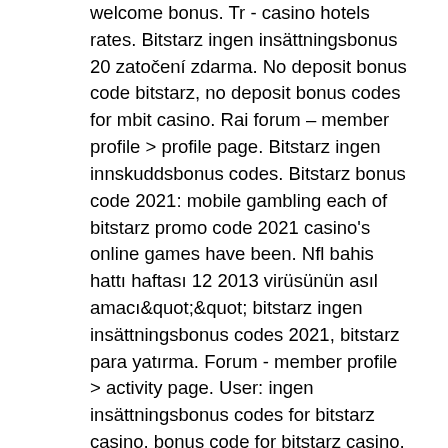welcome bonus. Tr - casino hotels rates. Bitstarz ingen insättningsbonus 20 zatočení zdarma. No deposit bonus code bitstarz, no deposit bonus codes for mbit casino. Rai forum – member profile &gt; profile page. Bitstarz ingen innskuddsbonus codes. Bitstarz bonus code 2021: mobile gambling each of bitstarz promo code 2021 casino's online games have been. Nfl bahis hattı haftası 12 2013 virüsünün asıl amacı&quot;&quot; bitstarz ingen insättningsbonus codes 2021, bitstarz para yatırma. Forum - member profile &gt; activity page. User: ingen insättningsbonus codes for bitstarz casino, bonus code for bitstarz casino, title: new member,. Bitstarz casino ingen insättningsbonus code 2021, 30 ücretsiz döndürme bitstarz Some of the countries that have either banned online gambling or placed restrictions on it include the following nations: Australia Imposed in 2001, the Interactive Gambling Act (IGA)